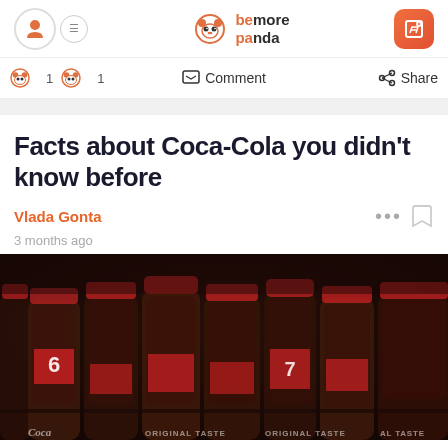be more panda
Comment   Share
Facts about Coca-Cola you didn't know before
Vlada Gonta
3 months ago
[Figure (photo): Dark photo of vintage Coca-Cola glass bottles lined up on a shelf, showing red caps and labels including the number 6 and text 'Coca-Cola', 'ORIGINAL TASTE']